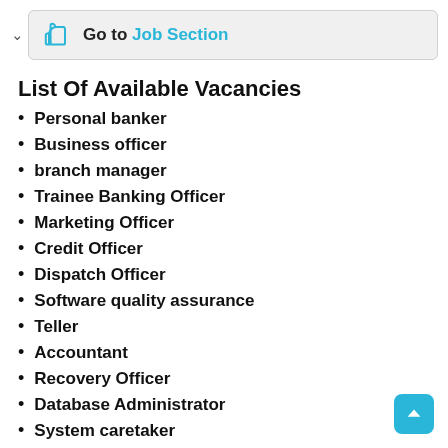Go to Job Section
List Of Available Vacancies
Personal banker
Business officer
branch manager
Trainee Banking Officer
Marketing Officer
Credit Officer
Dispatch Officer
Software quality assurance
Teller
Accountant
Recovery Officer
Database Administrator
System caretaker